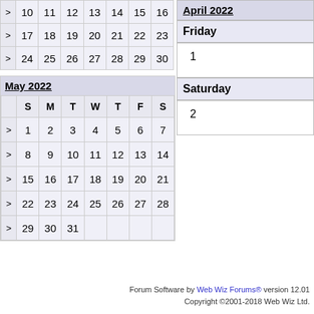| > | 10 | 11 | 12 | 13 | 14 | 15 | 16 |
| > | 17 | 18 | 19 | 20 | 21 | 22 | 23 |
| > | 24 | 25 | 26 | 27 | 28 | 29 | 30 |
April 2022
Friday
1
Saturday
2
May 2022
|  | S | M | T | W | T | F | S |
| --- | --- | --- | --- | --- | --- | --- | --- |
| > | 1 | 2 | 3 | 4 | 5 | 6 | 7 |
| > | 8 | 9 | 10 | 11 | 12 | 13 | 14 |
| > | 15 | 16 | 17 | 18 | 19 | 20 | 21 |
| > | 22 | 23 | 24 | 25 | 26 | 27 | 28 |
| > | 29 | 30 | 31 |  |  |  |  |
Forum Software by Web Wiz Forums® version 12.01
Copyright ©2001-2018 Web Wiz Ltd.